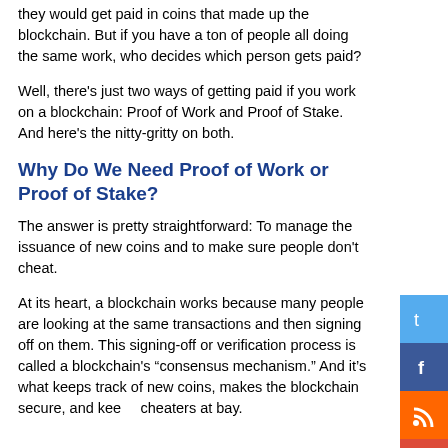they would get paid in coins that made up the blockchain. But if you have a ton of people all doing the same work, who decides which person gets paid?
Well, there's just two ways of getting paid if you work on a blockchain: Proof of Work and Proof of Stake. And here's the nitty-gritty on both.
Why Do We Need Proof of Work or Proof of Stake?
The answer is pretty straightforward: To manage the issuance of new coins and to make sure people don't cheat.
At its heart, a blockchain works because many people are looking at the same transactions and then signing off on them. This signing-off or verification process is called a blockchain's “consensus mechanism.” And it’s what keeps track of new coins, makes the blockchain secure, and keeps cheaters at bay.
[Figure (other): Social media sharing buttons: Twitter, Facebook, RSS, Google+, Email]